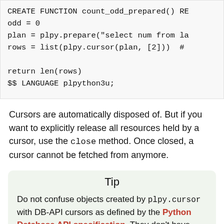[Figure (screenshot): Code block showing partial SQL/PL Python function: CREATE FUNCTION count_odd_prepared() RE, odd = 0, plan = plpy.prepare("select num from la, rows = list(plpy.cursor(plan, [2]))  #, return len(rows), $$ LANGUAGE plpython3u;]
Cursors are automatically disposed of. But if you want to explicitly release all resources held by a cursor, use the close method. Once closed, a cursor cannot be fetched from anymore.
Tip
Do not confuse objects created by plpy.cursor with DB-API cursors as defined by the Python Database API specification. They don't have anything in common except